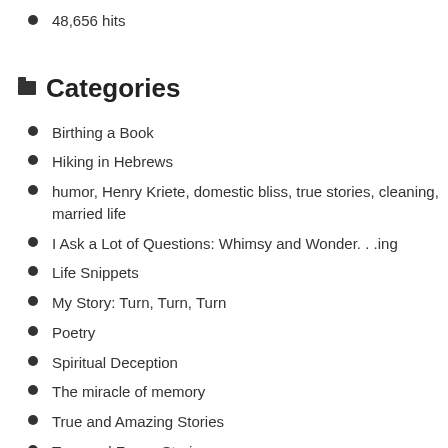48,656 hits
Categories
Birthing a Book
Hiking in Hebrews
humor, Henry Kriete, domestic bliss, true stories, cleaning, married life
I Ask a Lot of Questions: Whimsy and Wonder. . .ing
Life Snippets
My Story: Turn, Turn, Turn
Poetry
Spiritual Deception
The miracle of memory
True and Amazing Stories
True and Funny Stories
Uncategorized
Whimsy and Flashes of Brilliance